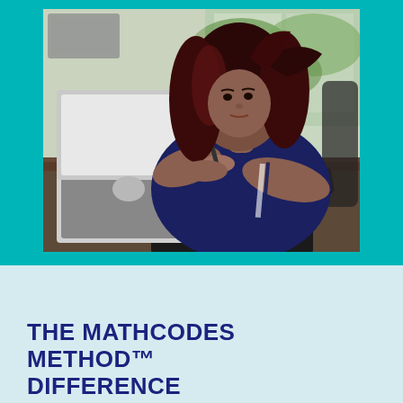[Figure (photo): A woman with long dark reddish hair sits at a desk with an Apple MacBook laptop and a drawing tablet, writing with a stylus. She is wearing a dark navy top. A phone is visible on the desk. Background shows a window with trees outside.]
THE MATHCODES METHOD™ DIFFERENCE